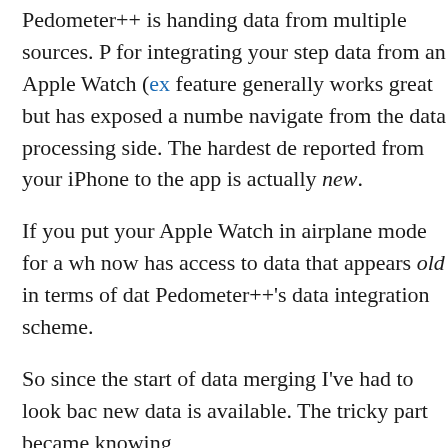Pedometer++ is handing data from multiple sources. P… for integrating your step data from an Apple Watch (ex… feature generally works great but has exposed a numbe… navigate from the data processing side. The hardest de… reported from your iPhone to the app is actually new.
If you put your Apple Watch in airplane mode for a wh… now has access to data that appears old in terms of dat… Pedometer++'s data integration scheme.
So since the start of data merging I've had to look bac… new data is available. The tricky part became knowing…
My initial attempt at this worked correctly most of the… fooled by either a bug in iOS (#27823135) or by a priv… either case users would see their old step counts slowly…